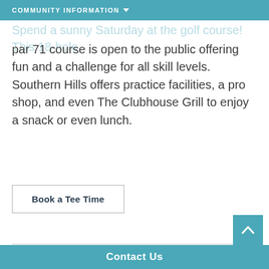COMMUNITY INFORMATION
Spend a sunny Saturday at the golf course! This 18-hole, par 71 course is open to the public offering fun and a challenge for all skill levels. Southern Hills offers practice facilities, a pro shop, and even The Clubhouse Grill to enjoy a snack or even lunch.
Book a Tee Time
[Figure (photo): Outdoor water park scene with a person reaching up, colorful water slides visible in the background against a light blue sky, with trees on the left side.]
Contact Us